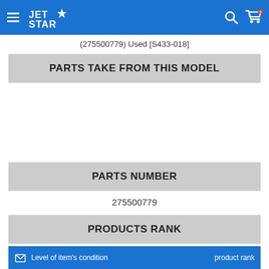JET STAR (navigation header)
(275500779) Used [S433-018]
PARTS TAKE FROM THIS MODEL
PARTS NUMBER
275500779
PRODUCTS RANK
This item is [ AB ] Rank
Level of item's condition   product rank